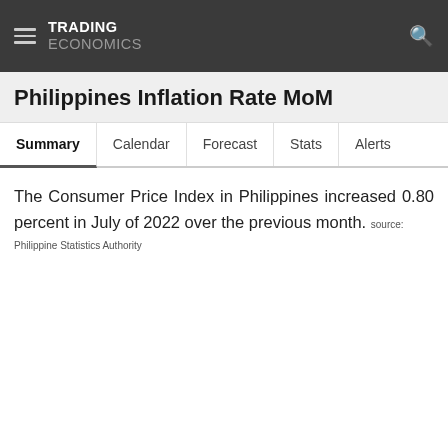TRADING ECONOMICS
Philippines Inflation Rate MoM
Summary | Calendar | Forecast | Stats | Alerts
The Consumer Price Index in Philippines increased 0.80 percent in July of 2022 over the previous month. source: Philippine Statistics Authority